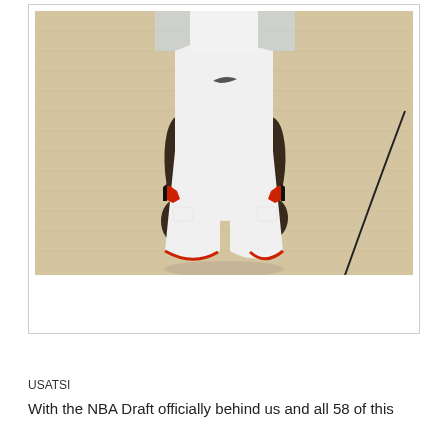[Figure (photo): Basketball player wearing white uniform with red trim standing on a hardwood court. The photo shows the player from approximately waist down to knees, wearing white shorts with a Nike logo and red/black accents, and white wristbands visible. The court surface is light wood with black court markings visible.]
USATSI
With the NBA Draft officially behind us and all 58 of this